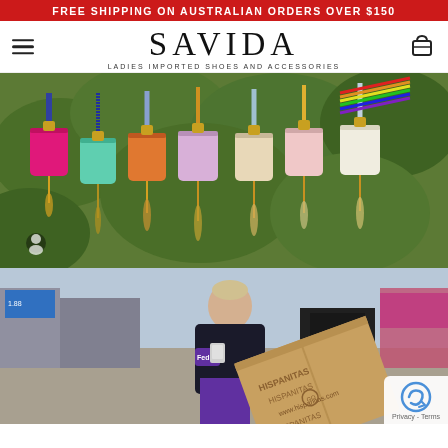FREE SHIPPING ON AUSTRALIAN ORDERS OVER $150
SAVIDA
LADIES IMPORTED SHOES AND ACCESSORIES
[Figure (photo): Colorful ladies handbags with tassels and gold hardware hanging on display against green foliage background]
[Figure (photo): FedEx delivery person carrying a large Hispanitas branded shoe box outside a shopping center]